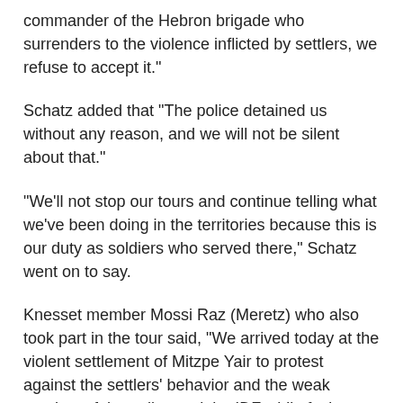commander of the Hebron brigade who surrenders to the violence inflicted by settlers, we refuse to accept it."
Schatz added that "The police detained us without any reason, and we will not be silent about that."
"We'll not stop our tours and continue telling what we've been doing in the territories because this is our duty as soldiers who served there," Schatz went on to say.
Knesset member Mossi Raz (Meretz) who also took part in the tour said, "We arrived today at the violent settlement of Mitzpe Yair to protest against the settlers' behavior and the weak conduct of the police and the IDF while facing them."
"We witnessed how the army and the police follow their instructions detaining Breaking the Silence CEO and its two prominent activists," Raz elucidated.
"What happened here today is a disgrace. We encourage the human